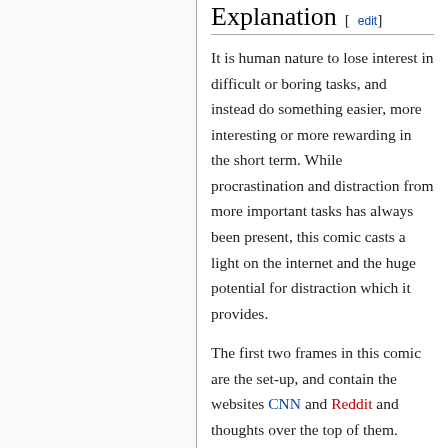Explanation [edit]
It is human nature to lose interest in difficult or boring tasks, and instead do something easier, more interesting or more rewarding in the short term. While procrastination and distraction from more important tasks has always been present, this comic casts a light on the internet and the huge potential for distraction which it provides.
The first two frames in this comic are the set-up, and contain the websites CNN and Reddit and thoughts over the top of them. These types of websites are regularly updated with new content are prime candidates for distraction. The thought bubbles indicate that